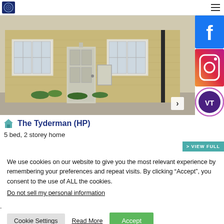Navigation header with logo and hamburger menu
[Figure (photo): Photograph of a brick terraced house with white-framed windows and a light grey front door, with small plants along the base]
The Tyderman (HP)
5 bed, 2 storey home
[Figure (logo): Facebook logo blue square with white f]
[Figure (logo): Instagram logo colourful gradient rounded square]
[Figure (logo): VT virtual tour circular logo purple/white]
> VIEW FULL
We use cookies on our website to give you the most relevant experience by remembering your preferences and repeat visits. By clicking “Accept”, you consent to the use of ALL the cookies.
Do not sell my personal information.
Cookie Settings   Read More   Accept